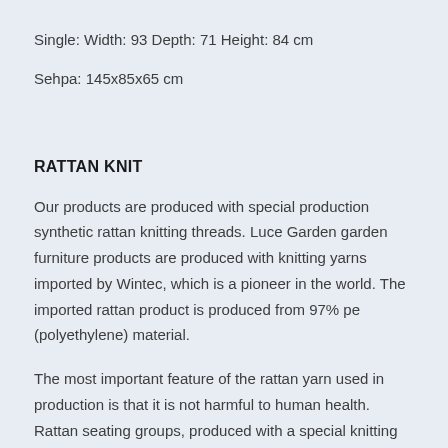Single: Width: 93 Depth: 71 Height: 84 cm
Sehpa: 145x85x65 cm
RATTAN KNIT
Our products are produced with special production synthetic rattan knitting threads. Luce Garden garden furniture products are produced with knitting yarns imported by Wintec, which is a pioneer in the world. The imported rattan product is produced from 97% pe (polyethylene) material.
The most important feature of the rattan yarn used in production is that it is not harmful to human health. Rattan seating groups, produced with a special knitting technique, resistant to water, rain, wind, humidity, cold and sun, and